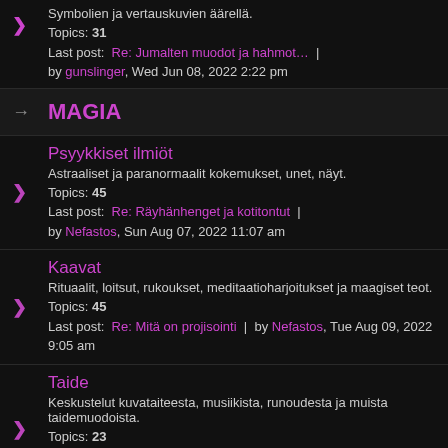Symbolien ja vertauskuvien äärellä.
Topics: 31
Last post: Re: Jumalten muodot ja hahmot… | by gunslinger, Wed Jun 08, 2022 2:22 pm
MAGIA
Psyykkiset ilmiöt
Astraaliset ja paranormaalit kokemukset, unet, näyt.
Topics: 45
Last post: Re: Räyhänhenget ja kotitontut | by Nefastos, Sun Aug 07, 2022 11:07 am
Kaavat
Rituaalit, loitsut, rukoukset, meditaatioharjoitukset ja maagiset teot.
Topics: 45
Last post: Re: Mitä on projisointi | by Nefastos, Tue Aug 09, 2022 9:05 am
Taide
Keskustelut kuvataiteesta, musiikista, runoudesta ja muista taidemuodoista.
Topics: 23
Last post: Re: Unblack metal / kristilli… | by Nefastos, Fri Aug 12, 2022 3:53 pm